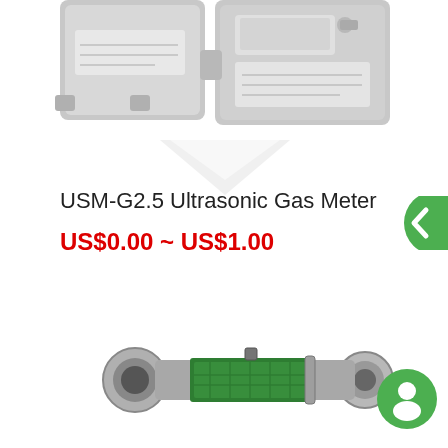[Figure (photo): USM-G2.5 Ultrasonic Gas Meter product photo showing grey rectangular meter device, partially cropped at top]
USM-G2.5 Ultrasonic Gas Meter
US$0.00 ~ US$1.00
[Figure (photo): Small cylindrical inline flow sensor or meter component with green circuit board visible, stainless steel body with flanged ends]